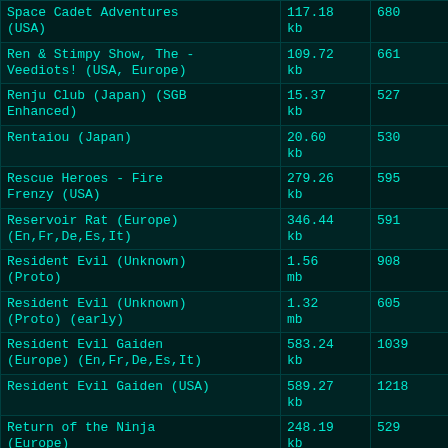| Name | Size | Number |
| --- | --- | --- |
| Space Cadet Adventures (USA) | 117.18 kb | 680 |
| Ren & Stimpy Show, The - Veediots! (USA, Europe) | 109.72 kb | 661 |
| Renju Club (Japan) (SGB Enhanced) | 15.37 kb | 527 |
| Rentaiou (Japan) | 20.60 kb | 530 |
| Rescue Heroes - Fire Frenzy (USA) | 279.26 kb | 595 |
| Reservoir Rat (Europe) (En,Fr,De,Es,It) | 346.44 kb | 591 |
| Resident Evil (Unknown) (Proto) | 1.56 mb | 908 |
| Resident Evil (Unknown) (Proto) (early) | 1.32 mb | 605 |
| Resident Evil Gaiden (Europe) (En,Fr,De,Es,It) | 583.24 kb | 1039 |
| Resident Evil Gaiden (USA) | 589.27 kb | 1218 |
| Return of the Ninja (Europe) | 248.19 kb | 529 |
| Return of the Ninja (USA) | 248.28 kb | 865 |
| Revelations - The Demon Slayer (USA) (SGB | 174.27 | 965 |